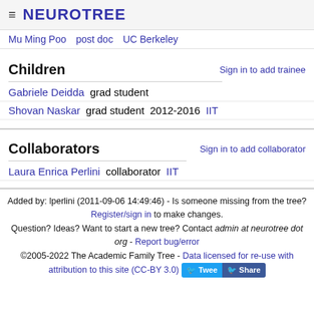≡ NEUROTREE
Mu Ming Poo   post doc   UC Berkeley
Children
Sign in to add trainee
Gabriele Deidda  grad student
Shovan Naskar  grad student  2012-2016  IIT
Collaborators
Sign in to add collaborator
Laura Enrica Perlini  collaborator  IIT
Added by: lperlini (2011-09-06 14:49:46) - Is someone missing from the tree? Register/sign in to make changes.
Question? Ideas? Want to start a new tree? Contact admin at neurotree dot org - Report bug/error
©2005-2022 The Academic Family Tree - Data licensed for re-use with attribution to this site (CC-BY 3.0)